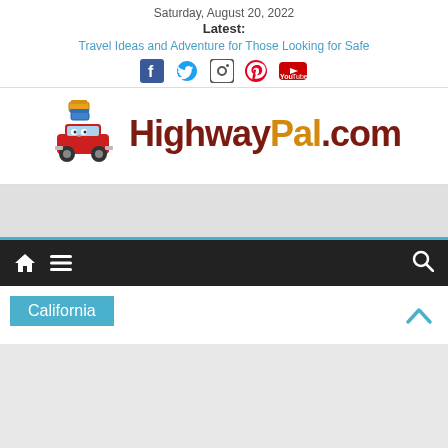Saturday, August 20, 2022
Latest:
Travel Ideas and Adventure for Those Looking for Safe
[Figure (infographic): Social media icons: Facebook, Twitter, Instagram, Pinterest, YouTube]
[Figure (logo): HighwayPal.com logo with red cartoon car carrying luggage]
[Figure (screenshot): Navigation bar with home icon, menu icon (hamburger), and search icon on dark background with blue top border]
California
[Figure (infographic): Back to top arrow chevron in teal/cyan color]